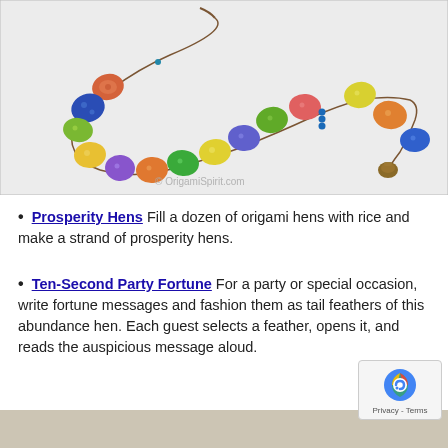[Figure (photo): A strand of colorful origami hens (prosperity hens) made from patterned paper in various colors, strung together with beads and a small bronze bell, photographed on a white/light grey background. Watermark: © OrigamiSpirit.com]
Prosperity Hens Fill a dozen of origami hens with rice and make a strand of prosperity hens.
Ten-Second Party Fortune For a party or special occasion, write fortune messages and fashion them as tail feathers of this abundance hen. Each guest selects a feather, opens it, and reads the auspicious message aloud.
[Figure (photo): Bottom portion of another image, partially visible, appears to show a light-colored surface or craft object.]